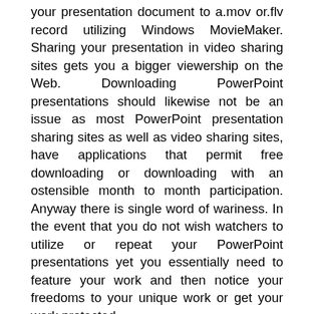your presentation document to a.mov or.flv record utilizing Windows MovieMaker. Sharing your presentation in video sharing sites gets you a bigger viewership on the Web. Downloading PowerPoint presentations should likewise not be an issue as most PowerPoint presentation sharing sites as well as video sharing sites, have applications that permit free downloading or downloading with an ostensible month to month participation. Anyway there is single word of wariness. In the event that you do not wish watchers to utilize or repeat your PowerPoint presentations yet you essentially need to feature your work and then notice your freedoms to your unique work or get your work protected.
Likewise, make a different email address with which you will make your record with the free modern powerpoint template by hislide.io presentations sharing site. Despite the fact that sites guarantee security you risk receiving your email address offered